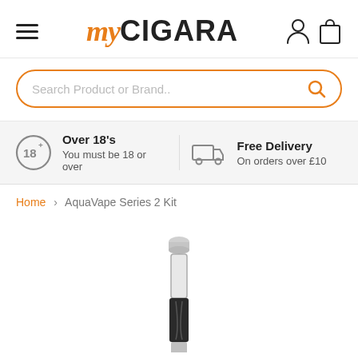myCIGARA
Search Product or Brand..
Over 18's - You must be 18 or over | Free Delivery - On orders over £10
Home > AquaVape Series 2 Kit
[Figure (photo): AquaVape Series 2 Kit vape device - silver and black cylindrical vaporizer pen]